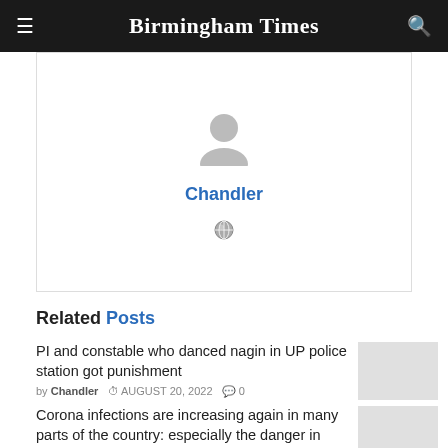Birmingham Times
[Figure (illustration): User profile avatar placeholder (gray silhouette) with author name 'Chandler' in blue and a globe icon below]
Related Posts
PI and constable who danced nagin in UP police station got punishment
by Chandler  AUGUST 20, 2022  0
Corona infections are increasing again in many parts of the country: especially the danger in Delhi and Maharashtra